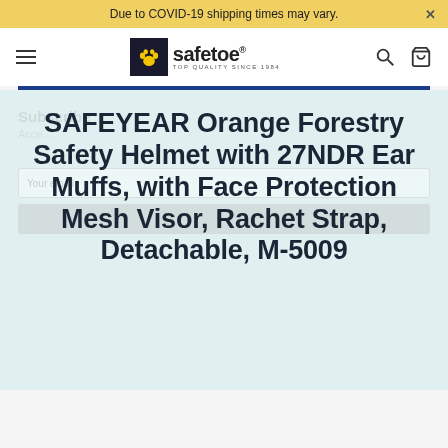Due to COVID-19 shipping times may vary.
[Figure (logo): Safetoe logo with paw print icon and text 'safetoe TOP QUALITY SINCE 1984']
SAFEYEAR Orange Forestry Safety Helmet with 27NDR Ear Muffs, with Face Protection Mesh Visor, Rachet Strap, Detachable, M-5009